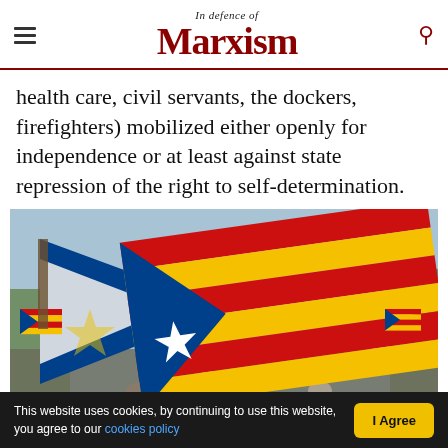In Defence of Marxism
health care, civil servants, the dockers, firefighters) mobilized either openly for independence or at least against state repression of the right to self-determination.
[Figure (photo): Photograph of Catalan independence flags (estelada) being waved at a rally, showing blue triangles with white stars and red-yellow stripes, with crowds in the background.]
This website uses cookies, by continuing to use this website, you agree to our cookies policy